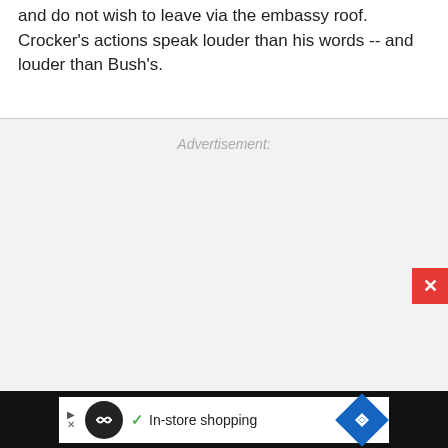and do not wish to leave via the embassy roof. Crocker's actions speak louder than his words -- and louder than Bush's.
Advertisement:
[Figure (other): Advertisement placeholder area with gray background]
[Figure (other): Bottom advertisement bar with black background, white inner panel, circular logo with infinity-style icon, checkmark with 'In-store shopping' text, and blue diamond navigation icon]